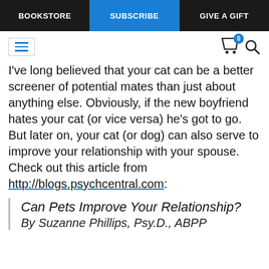BOOKSTORE | SUBSCRIBE | GIVE A GIFT
[Figure (screenshot): Navigation icon bar with hamburger menu (blue lines), shopping cart with badge showing 0, and search icon]
I've long believed that your cat can be a better screener of potential mates than just about anything else. Obviously, if the new boyfriend hates your cat (or vice versa) he's got to go. But later on, your cat (or dog) can also serve to improve your relationship with your spouse. Check out this article from http://blogs.psychcentral.com:
Can Pets Improve Your Relationship?
By Suzanne Phillips, Psy.D., ABPP